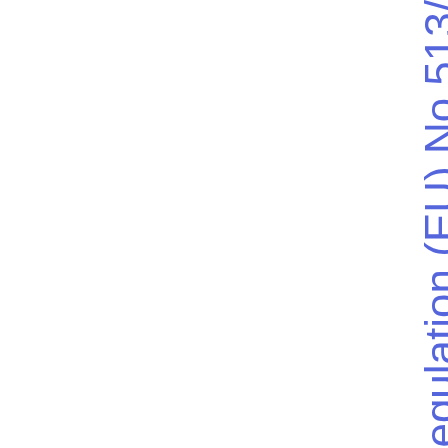petent authorities and the sectoral competent authorities under Regulation (EU) No 513/